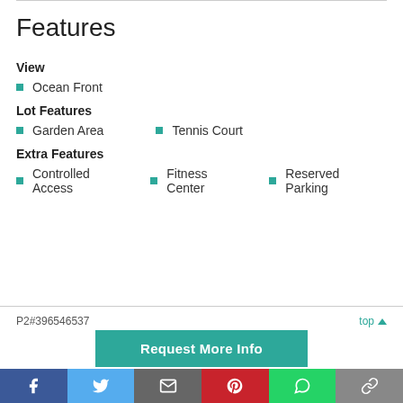Features
View
Ocean Front
Lot Features
Garden Area
Tennis Court
Extra Features
Controlled Access
Fitness Center
Reserved Parking
P2#396546537  top